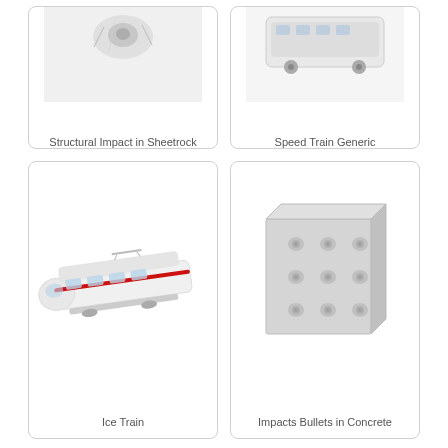[Figure (photo): Structural Impact in Sheetrock - partial view at top of card, object partially cropped]
Structural Impact in Sheetrock
[Figure (photo): Speed Train Generic - partial view at top of card, cropped]
Speed Train Generic
[Figure (photo): Ice Train - white high-speed train model with red stripe]
Ice Train
[Figure (photo): Impacts Bullets in Concrete - gray concrete block with multiple bullet impact holes]
Impacts Bullets in Concrete
[Figure (photo): Partially visible blue pen/stylus object at bottom left card]
[Figure (photo): Partially visible blue pen/stylus object at bottom right card]